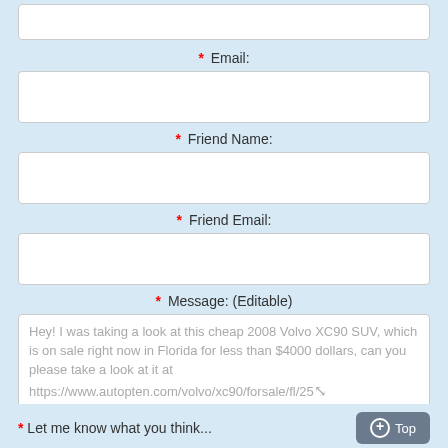* Email:
[Figure (screenshot): Empty input field for Email]
* Friend Name:
[Figure (screenshot): Empty input field for Friend Name]
* Friend Email:
[Figure (screenshot): Empty input field for Friend Email]
* Message: (Editable)
Hey! I was taking a look at this cheap 2008 Volvo XC90 SUV, which is on sale right now in Florida for less than $4000 dollars, can you please take a look at it at https://www.autopten.com/volvo/xc90/forsale/fl/25...
* Let me know what you think...